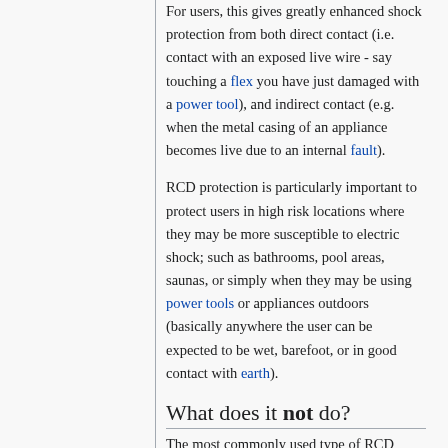For users, this gives greatly enhanced shock protection from both direct contact (i.e. contact with an exposed live wire - say touching a flex you have just damaged with a power tool), and indirect contact (e.g. when the metal casing of an appliance becomes live due to an internal fault).
RCD protection is particularly important to protect users in high risk locations where they may be more susceptible to electric shock; such as bathrooms, pool areas, saunas, or simply when they may be using power tools or appliances outdoors (basically anywhere the user can be expected to be wet, barefoot, or in good contact with earth).
What does it not do?
The most commonly used type of RCD